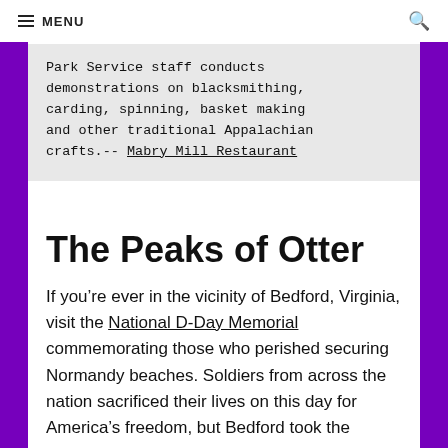MENU
Park Service staff conducts demonstrations on blacksmithing, carding, spinning, basket making and other traditional Appalachian crafts.-- Mabry Mill Restaurant
The Peaks of Otter
If you're ever in the vicinity of Bedford, Virginia, visit the National D-Day Memorial commemorating those who perished securing Normandy beaches. Soldiers from across the nation sacrificed their lives on this day for America's freedom, but Bedford took the biggest hit: